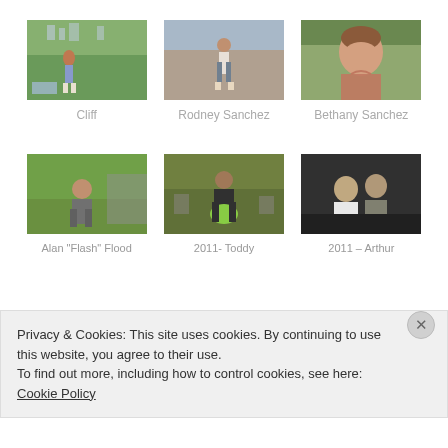[Figure (photo): Photo of person labeled Cliff outdoors on grass with city skyline in background]
Cliff
[Figure (photo): Photo of person labeled Rodney Sanchez standing on a sports court]
Rodney Sanchez
[Figure (photo): Photo of woman labeled Bethany Sanchez smiling outdoors]
Bethany Sanchez
[Figure (photo): Photo of person labeled Alan Flash Flood outdoors on grass]
Alan “Flash” Flood
[Figure (photo): Photo of person labeled 2011- Toddy holding a frisbee outdoors]
2011- Toddy
[Figure (photo): Photo of two people labeled 2011 – Arthur in dark setting]
2011 – Arthur
Privacy & Cookies: This site uses cookies. By continuing to use this website, you agree to their use.
To find out more, including how to control cookies, see here: Cookie Policy
Close and accept